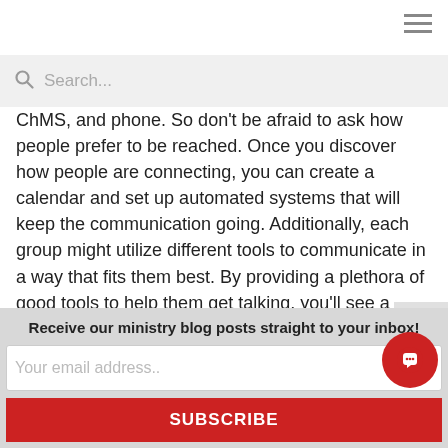ChMS, and phone. So don't be afraid to ask how people prefer to be reached. Once you discover how people are connecting, you can create a calendar and set up automated systems that will keep the communication going. Additionally, each group might utilize different tools to communicate in a way that fits them best. By providing a plethora of good tools to help them get talking, you'll see a connected church poised for growth.
Keep in mind, the more people you can get involved in
Receive our ministry blog posts straight to your inbox!
Your email address..
SUBSCRIBE